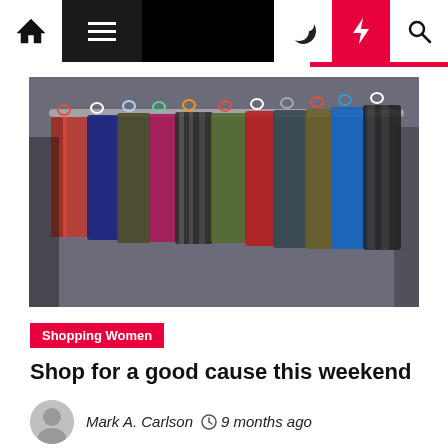Navigation bar with home, menu, moon, lightning, and search icons
[Figure (photo): A rack of colorful clothes on hangers, various garments in red, blue, black, plaid, and other colors, photographed from close up]
Shopping Women
Shop for a good cause this weekend
Mark A. Carlson  9 months ago